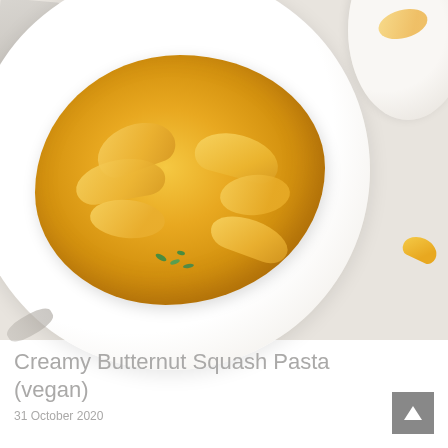[Figure (photo): Overhead aerial view of a white ceramic plate containing shell-shaped pasta (conchiglie) coated in a creamy golden butternut squash sauce, garnished with fresh green herbs. Additional loose pasta shells visible in the top right corner. A grey napkin/cloth appears in the top left. Shot on a white surface.]
Creamy Butternut Squash Pasta (vegan)
31 October 2020